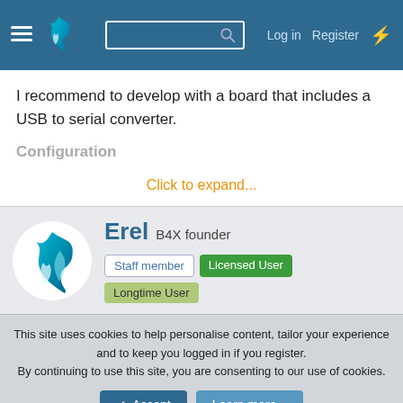B4X forum header — Log in | Register
I recommend to develop with a board that includes a USB to serial converter.
Configuration
Click to expand...
Erel  B4X founder — Staff member | Licensed User | Longtime User
This site uses cookies to help personalise content, tailor your experience and to keep you logged in if you register. By continuing to use this site, you are consenting to our use of cookies.